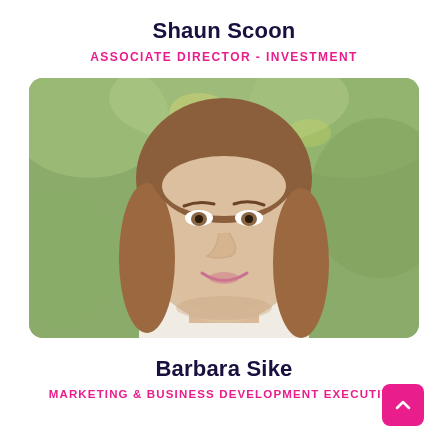Shaun Scoon
ASSOCIATE DIRECTOR - INVESTMENT
[Figure (photo): Headshot portrait of a woman with long brown hair, smiling, with a blurred green outdoor background.]
Barbara Sike
MARKETING & BUSINESS DEVELOPMENT EXECUTIVE